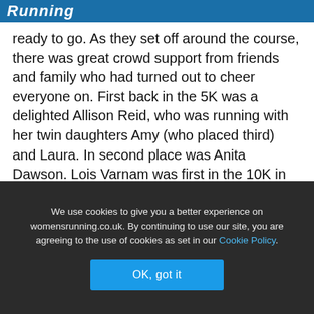Running
ready to go. As they set off around the course, there was great crowd support from friends and family who had turned out to cheer everyone on. First back in the 5K was a delighted Allison Reid, who was running with her twin daughters Amy (who placed third) and Laura. In second place was Anita Dawson. Lois Varnam was first in the 10K in an impressive 42mins 29secs, with Lauren Wilson just over a minute behind in second, and Lindsey Harland – running her first ever 10K race – in third.
We raced it!
We use cookies to give you a better experience on womensrunning.co.uk. By continuing to use our site, you are agreeing to the use of cookies as set in our Cookie Policy.
OK, got it